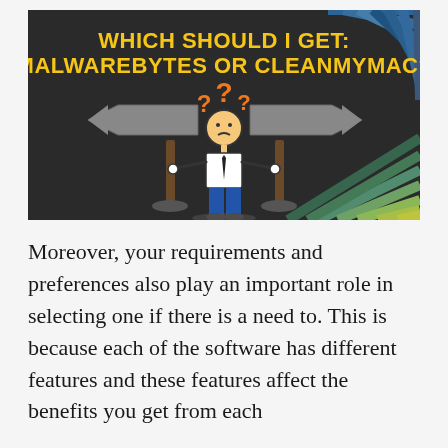[Figure (illustration): Dark background illustration showing a stick figure person standing at a crossroads between two grey directional signs pointing left and right, with orange question marks above the figure's head. Yellow bold text at top reads 'WHICH SHOULD I GET: MALWAREBYTES OR CLEANMYMAC?' Decorative diagonal stripe patterns in blue/teal (top-right) and yellow-green (bottom-right) corners.]
Moreover, your requirements and preferences also play an important role in selecting one if there is a need to. This is because each of the software has different features and these features affect the benefits you get from each